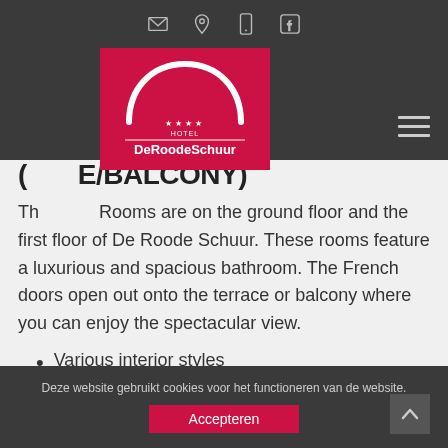[navigation icons: email, location, phone, facebook] [hamburger menu]
[Figure (logo): De Roode Schuur hotel logo — red background with white arch and stars, text DeRoodeSchuur]
(... /BALCONY)
Th[ese] Rooms are on the ground floor and the first floor of De Roode Schuur. These rooms feature a luxurious and spacious bathroom. The French doors open out onto the terrace or balcony where you can enjoy the spectacular view.
Various interior styles
Deze website gebruikt cookies voor het functioneren van de website. Accepteren